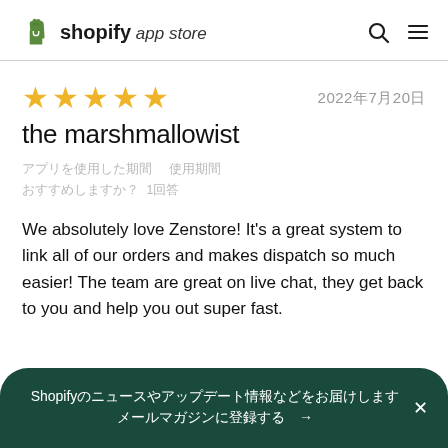shopify app store
[Figure (other): Five gold star rating]
2022年7月20日
the marshmallowist
アプリを使用した期間　1日未満
We absolutely love Zenstore! It's a great system to link all of our orders and makes dispatch so much easier! The team are great on live chat, they get back to you and help you out super fast.
Shopifyのニュースやアップデート情報などをお届けします　→